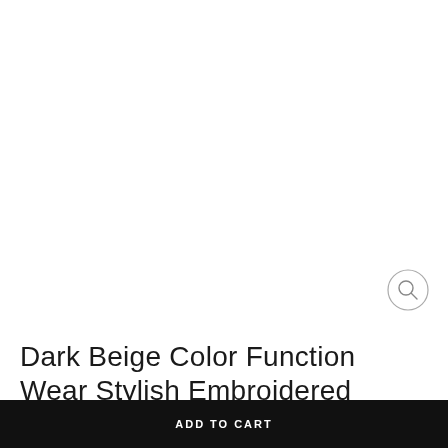[Figure (photo): Product photo area showing a garment — appears mostly white/blank in the visible portion]
Dark Beige Color Function Wear Stylish Embroidered Georgette
ADD TO CART